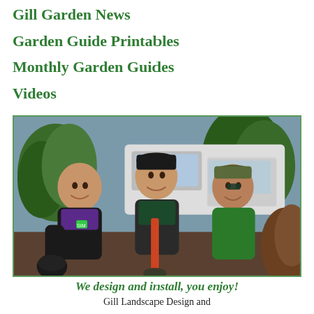Gill Garden News
Garden Guide Printables
Monthly Garden Guides
Videos
[Figure (photo): Three men smiling outdoors near a white truck and plants; the middle man holds a shovel with a red handle, the left man holds a black pot, and the right man stands near dried brush. They appear to be landscapers.]
We design and install, you enjoy!
Gill Landscape Design and